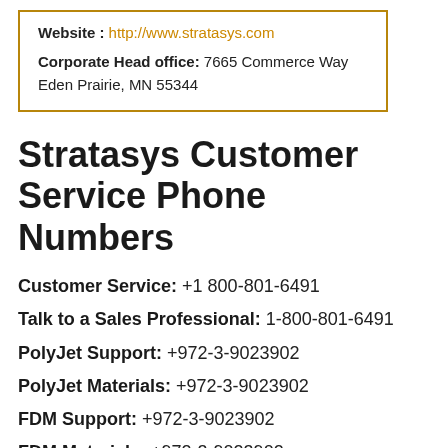Website : http://www.stratasys.com
Corporate Head office: 7665 Commerce Way Eden Prairie, MN 55344
Stratasys Customer Service Phone Numbers
Customer Service: +1 800-801-6491
Talk to a Sales Professional: 1-800-801-6491
PolyJet Support: +972-3-9023902
PolyJet Materials: +972-3-9023902
FDM Support: +972-3-9023902
FDM Materials: +972-3-9023902